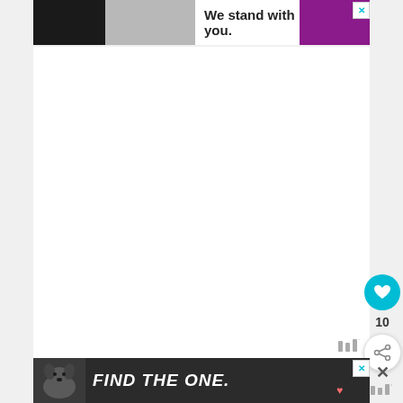[Figure (screenshot): Top advertisement banner with black, gray, white, and purple sections. White section reads 'We stand with you.' in bold dark text. Close X button in top right corner.]
[Figure (screenshot): Main white content area, blank/empty.]
[Figure (logo): Small logo/wordmark with vertical bars and degree symbol in bottom right of content area.]
[Figure (screenshot): Teal circular heart/like button with count '10' below it, and a share button below that on the right side of the page.]
[Figure (screenshot): Bottom advertisement banner on dark background with dog image on left and 'FIND THE ONE.' text in bold white italic font. Heart symbol near bottom right. Close X button.]
[Figure (screenshot): Far right overlay panel with X close button and wordmark bars.]